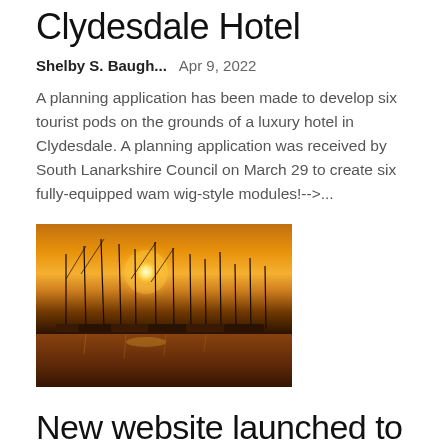Clydesdale Hotel
Shelby S. Baugh...    Apr 9, 2022
A planning application has been made to develop six tourist pods on the grounds of a luxury hotel in Clydesdale. A planning application was received by South Lanarkshire Council on March 29 to create six fully-equipped wam wig-style modules!-->...
[Figure (photo): Sailboats moored at a marina at sunset with orange sky and reflections on water]
New website launched to showcase Yarmouth Port
Shelby S. Baugh...